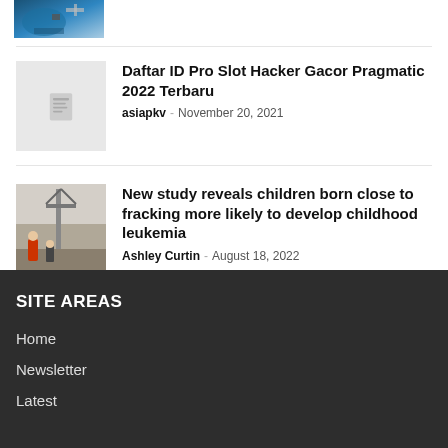[Figure (photo): Satellite or aerial image thumbnail at the top]
Daftar ID Pro Slot Hacker Gacor Pragmatic 2022 Terbaru
asiapkv · November 20, 2021
[Figure (photo): Photo of children near fracking/industrial equipment]
New study reveals children born close to fracking more likely to develop childhood leukemia
Ashley Curtin · August 18, 2022
SITE AREAS
Home
Newsletter
Latest